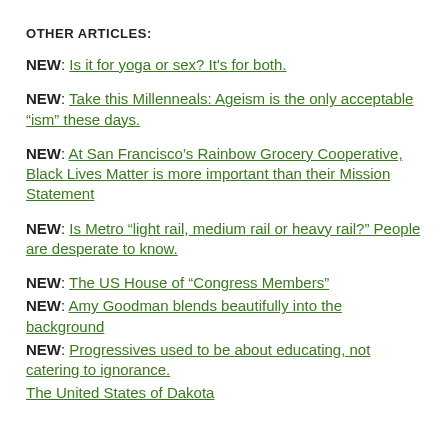OTHER ARTICLES:
NEW: Is it for yoga or sex? It's for both.
NEW: Take this Millenneals: Ageism is the only acceptable “ism” these days.
NEW: At San Francisco’s Rainbow Grocery Cooperative, Black Lives Matter is more important than their Mission Statement
NEW: Is Metro “light rail, medium rail or heavy rail?” People are desperate to know.
NEW: The US House of “Congress Members”
NEW: Amy Goodman blends beautifully into the background
NEW: Progressives used to be about educating, not catering to ignorance.
The United States of Dakota